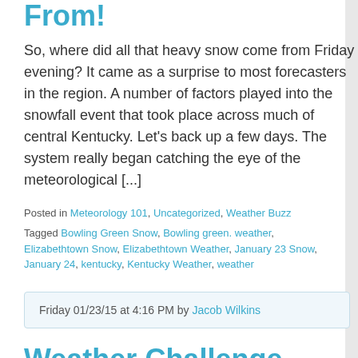From!
So, where did all that heavy snow come from Friday evening? It came as a surprise to most forecasters in the region. A number of factors played into the snowfall event that took place across much of central Kentucky. Let's back up a few days. The system really began catching the eye of the meteorological [...]
Posted in Meteorology 101, Uncategorized, Weather Buzz
Tagged Bowling Green Snow, Bowling green. weather, Elizabethtown Snow, Elizabethtown Weather, January 23 Snow, January 24, kentucky, Kentucky Weather, weather
Friday 01/23/15 at 4:16 PM by Jacob Wilkins
Weather Challenge Resumes Monday